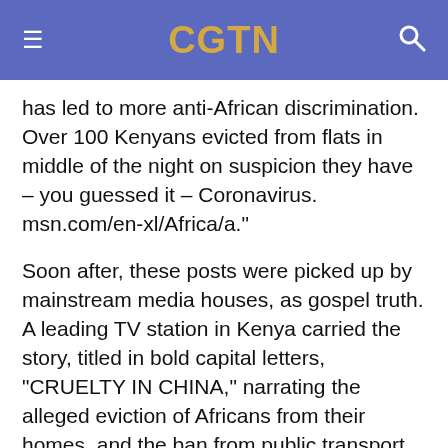CGTN
has led to more anti-African discrimination. Over 100 Kenyans evicted from flats in middle of the night on suspicion they have – you guessed it – Coronavirus. msn.com/en-xl/Africa/a."
Soon after, these posts were picked up by mainstream media houses, as gospel truth. A leading TV station in Kenya carried the story, titled in bold capital letters, "CRUELTY IN CHINA," narrating the alleged eviction of Africans from their homes, and the ban from public transport and hotels on suspicion they were infected with COVID-19.
Fielding questions from journalists during a